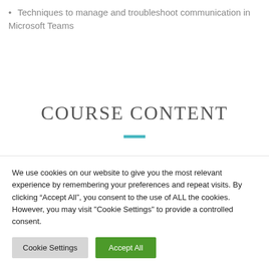Techniques to manage and troubleshoot communication in Microsoft Teams
COURSE CONTENT
We use cookies on our website to give you the most relevant experience by remembering your preferences and repeat visits. By clicking “Accept All”, you consent to the use of ALL the cookies. However, you may visit "Cookie Settings" to provide a controlled consent.